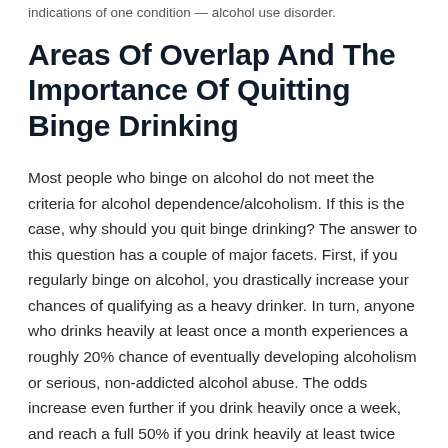indications of one condition — alcohol use disorder.
Areas Of Overlap And The Importance Of Quitting Binge Drinking
Most people who binge on alcohol do not meet the criteria for alcohol dependence/alcoholism. If this is the case, why should you quit binge drinking? The answer to this question has a couple of major facets. First, if you regularly binge on alcohol, you drastically increase your chances of qualifying as a heavy drinker. In turn, anyone who drinks heavily at least once a month experiences a roughly 20% chance of eventually developing alcoholism or serious, non-addicted alcohol abuse. The odds increase even further if you drink heavily once a week, and reach a full 50% if you drink heavily at least twice weekly. Even if you never qualify for a diagnosis of alcohol use disorder, you have another important reason to quit binge drinking. People who binge on